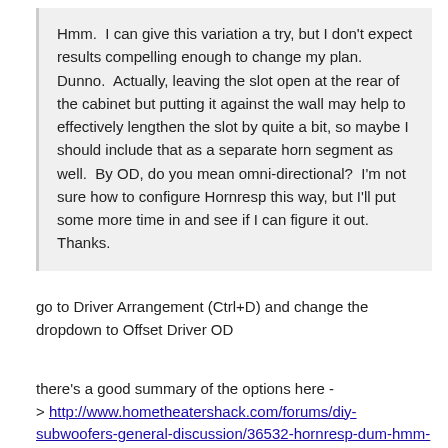Hmm. I can give this variation a try, but I don't expect results compelling enough to change my plan. Dunno. Actually, leaving the slot open at the rear of the cabinet but putting it against the wall may help to effectively lengthen the slot by quite a bit, so maybe I should include that as a separate horn segment as well. By OD, do you mean omni-directional? I'm not sure how to configure Hornresp this way, but I'll put some more time in and see if I can figure it out.

Thanks.
go to Driver Arrangement (Ctrl+D) and change the dropdown to Offset Driver OD
there's a good summary of the options here -
> http://www.hometheatershack.com/forums/diy-subwoofers-general-discussion/36532-hornresp-dum-hmm-everyone.html